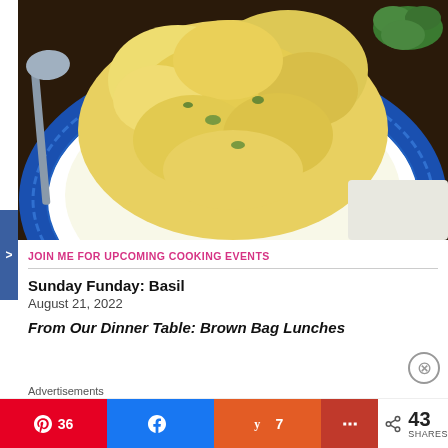[Figure (photo): Close-up photo of egg salad or potato salad piled high on a blue and white decorative plate, with a spoon visible on the left and green herb garnish in the top right corner.]
>
JOIN ME FOR UPCOMING COOKING EVENTS
Sunday Funday: Basil
August 21, 2022
From Our Dinner Table: Brown Bag Lunches
Advertisements
36
7
+ 43 SHARES